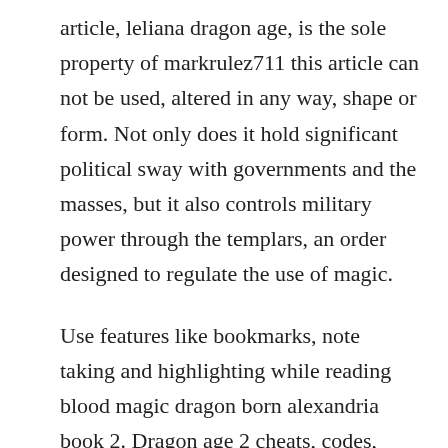article, leliana dragon age, is the sole property of markrulez711 this article can not be used, altered in any way, shape or form. Not only does it hold significant political sway with governments and the masses, but it also controls military power through the templars, an order designed to regulate the use of magic.
Use features like bookmarks, note taking and highlighting while reading blood magic dragon born alexandria book 2. Dragon age 2 cheats, codes, cheat codes, walkthrough,